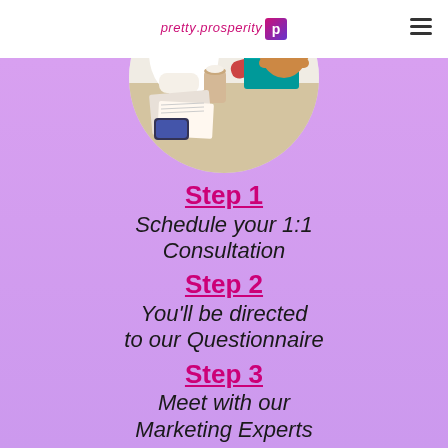pretty.prosperity p
[Figure (photo): Circular cropped photo of two people at a meeting desk with papers, a coffee cup, and a teal folder, shown from the shoulders down]
Step 1
Schedule your 1:1 Consultation
Step 2
You'll be directed to our Questionnaire
Step 3
Meet with our Marketing Experts